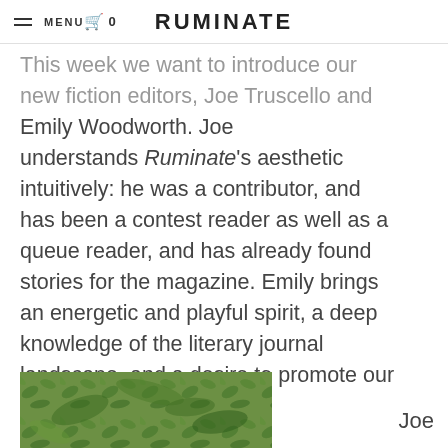MENU | RUMINATE | 0
This week we want to introduce our new fiction editors, Joe Truscello and Emily Woodworth. Joe understands Ruminate's aesthetic intuitively: he was a contributor, and has been a contest reader as well as a queue reader, and has already found stories for the magazine. Emily brings an energetic and playful spirit, a deep knowledge of the literary journal landscape, and a desire to promote our writers. Welcome!
[Figure (photo): Partial photo of green foliage/plants visible at the bottom left of the page, cropped]
Joe